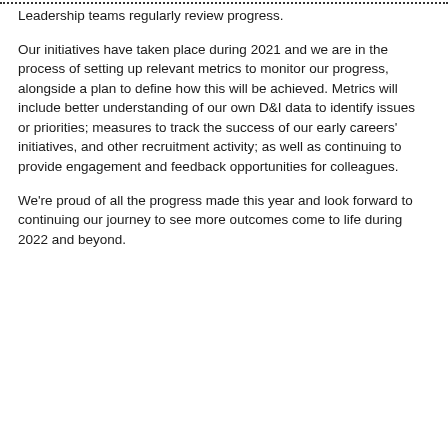Leadership teams regularly review progress.
Our initiatives have taken place during 2021 and we are in the process of setting up relevant metrics to monitor our progress, alongside a plan to define how this will be achieved. Metrics will include better understanding of our own D&I data to identify issues or priorities; measures to track the success of our early careers' initiatives, and other recruitment activity; as well as continuing to provide engagement and feedback opportunities for colleagues.
We're proud of all the progress made this year and look forward to continuing our journey to see more outcomes come to life during 2022 and beyond.